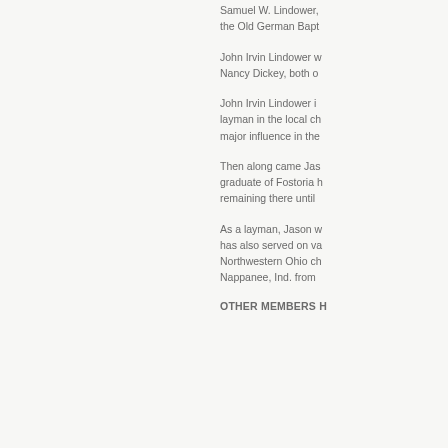Samuel W. Lindower, the Old German Bapt
John Irvin Lindower w Nancy Dickey, both o
John Irvin Lindower i layman in the local ch major influence in the
Then along came Jas graduate of Fostoria h remaining there until
As a layman, Jason w has also served on va Northwestern Ohio ch Nappanee, Ind. from
OTHER MEMBERS h